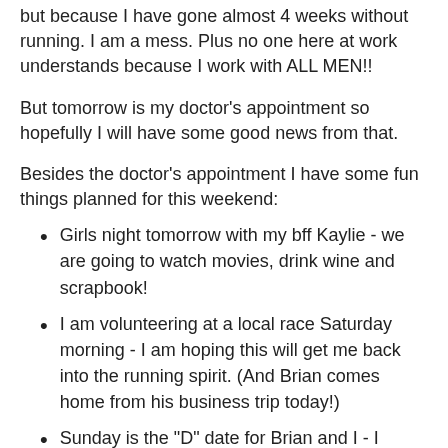but because I have gone almost 4 weeks without running. I am a mess. Plus no one here at work understands because I work with ALL MEN!!
But tomorrow is my doctor's appointment so hopefully I will have some good news from that.
Besides the doctor's appointment I have some fun things planned for this weekend:
Girls night tomorrow with my bff Kaylie - we are going to watch movies, drink wine and scrapbook!
I am volunteering at a local race Saturday morning - I am hoping this will get me back into the running spirit. (And Brian comes home from his business trip today!)
Sunday is the "D" date for Brian and I - I mentioned it way back here and its based on a book called Alphabet Weekends by Elizabeth Noble. We have been so busy with school that